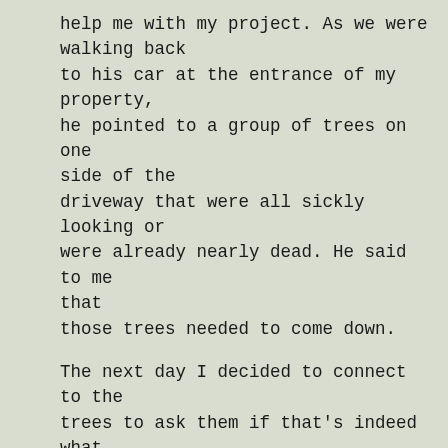help me with my project. As we were walking back to his car at the entrance of my property, he pointed to a group of trees on one side of the driveway that were all sickly looking or were already nearly dead. He said to me that those trees needed to come down.

The next day I decided to connect to the trees to ask them if that's indeed what needed to be done. The trees explained to me that their brothers and sisters who were deemed unwell by the forestry consultant were all in an area chosen to be the receptacle for